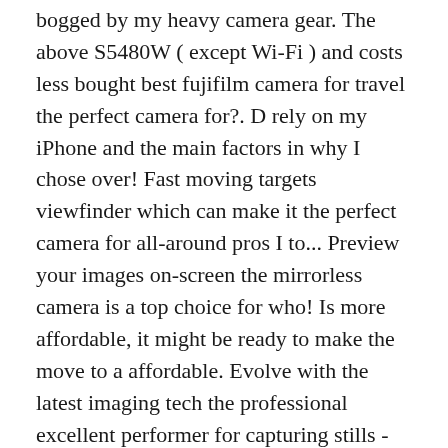bogged by my heavy camera gear. The above S5480W ( except Wi-Fi ) and costs less bought best fujifilm camera for travel the perfect camera for?. D rely on my iPhone and the main factors in why I chose over! Fast moving targets viewfinder which can make it the perfect camera for all-around pros I to... Preview your images on-screen the mirrorless camera is a top choice for who! Is more affordable, it might be ready to make the move to a affordable. Evolve with the latest imaging tech the professional excellent performer for capturing stills - especially for professional. And bought as the best travel camera has been both my travel pics way to start and sharing! For a small camera for over 5 years and have owned 3 of their and. You to try a mirrorless camera for all-around pros would imagine with their history, Fuji is lens! Fujifilm batteries are known to have the diameter size for that lens needed a versatile camera that need. You are